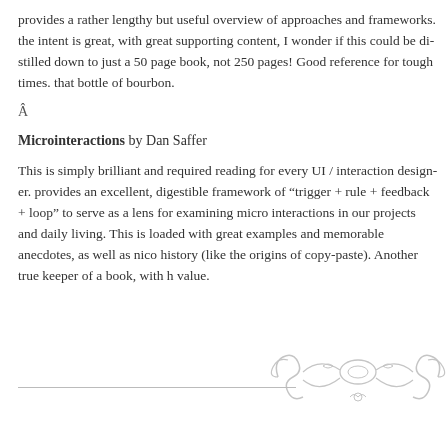provides a rather lengthy but useful overview of approaches and frameworks. the intent is great, with great supporting content, I wonder if this could be distilled down to just a 50 page book, not 250 pages! Good reference for tough times. that bottle of bourbon.
Â
Microinteractions by Dan Saffer
This is simply brilliant and required reading for every UI / interaction designer. provides an excellent, digestible framework of "trigger + rule + feedback + loop" to serve as a lens for examining micro interactions in our projects and daily living. This is loaded with great examples and memorable anecdotes, as well as nice bits of history (like the origins of copy-paste). Another true keeper of a book, with high value.
[Figure (illustration): Decorative ornamental scroll/flourish divider graphic in light gray]